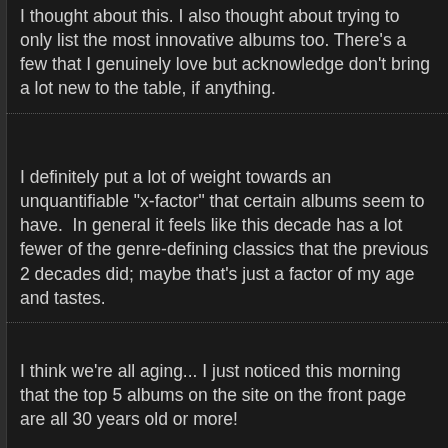I thought about this. I also thought about trying to only list the most innovative albums too. There's a few that I genuinely love but acknowledge don't bring a lot new to the table, if anything.
I definitely put a lot of weight towards an unquantifiable "x-factor" that certain albums seem to have.  In general it feels like this decade has a lot fewer of the genre-defining classics that the previous 2 decades did; maybe that's just a factor of my age and tastes.
I think we're all aging... I just noticed this morning that the top 5 albums on the site on the front page are all 30 years old or more!